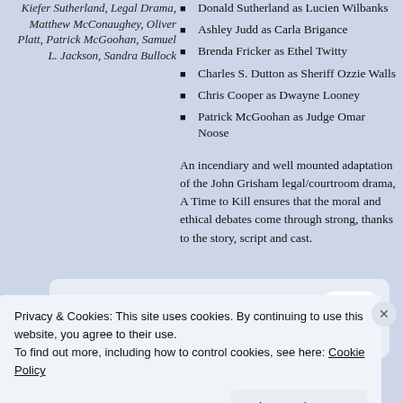Kiefer Sutherland, Legal Drama, Matthew McConaughey, Oliver Platt, Patrick McGoohan, Samuel L. Jackson, Sandra Bullock
Donald Sutherland as Lucien Wilbanks
Ashley Judd as Carla Brigance
Brenda Fricker as Ethel Twitty
Charles S. Dutton as Sheriff Ozzie Walls
Chris Cooper as Dwayne Looney
Patrick McGoohan as Judge Omar Noose
An incendiary and well mounted adaptation of the John Grisham legal/courtroom drama, A Time to Kill ensures that the moral and ethical debates come through strong, thanks to the story, script and cast.
[Figure (logo): GET THE APP banner with WordPress logo icon]
Privacy & Cookies: This site uses cookies. By continuing to use this website, you agree to their use. To find out more, including how to control cookies, see here: Cookie Policy
Close and accept